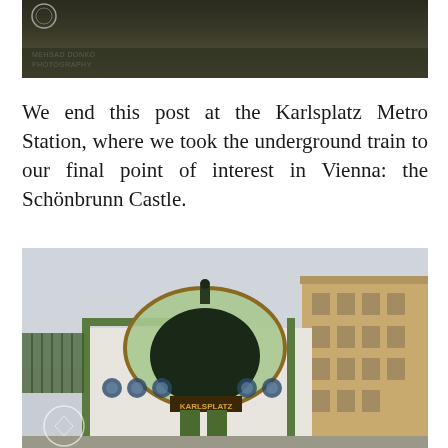[Figure (photo): Top portion of a photography watermark/logo image by Mehsad Donko Photography, showing dark landscape with circular logo mark]
We end this post at the Karlsplatz Metro Station, where we took the underground train to our final point of interest in Vienna: the Schönbrunn Castle.
[Figure (photo): Photograph of the Karlsplatz Metro Station in Vienna, showing the ornate Art Nouveau entrance pavilion with green metal framework, decorated arch, KARLSPLATZ sign, and a classical building visible to the right]